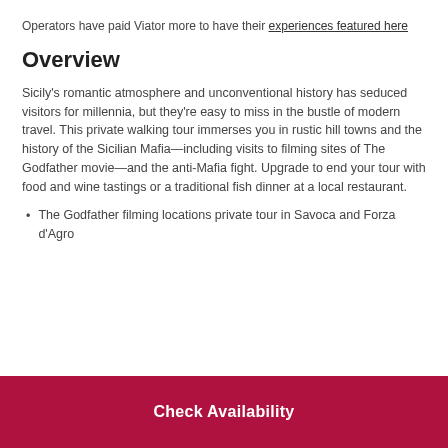Operators have paid Viator more to have their experiences featured here
Overview
Sicily's romantic atmosphere and unconventional history has seduced visitors for millennia, but they're easy to miss in the bustle of modern travel. This private walking tour immerses you in rustic hill towns and the history of the Sicilian Mafia—including visits to filming sites of The Godfather movie—and the anti-Mafia fight. Upgrade to end your tour with food and wine tastings or a traditional fish dinner at a local restaurant.
The Godfather filming locations private tour in Savoca and Forza d'Agro
Check Availability